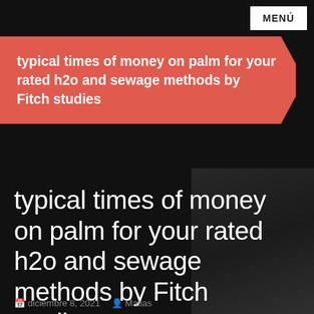MENÚ
typical times of money on palm for your rated h2o and sewage methods by Fitch studies
typical times of money on palm for your rated h2o and sewage methods by Fitch studies
diciembre 8, 2021   Matias